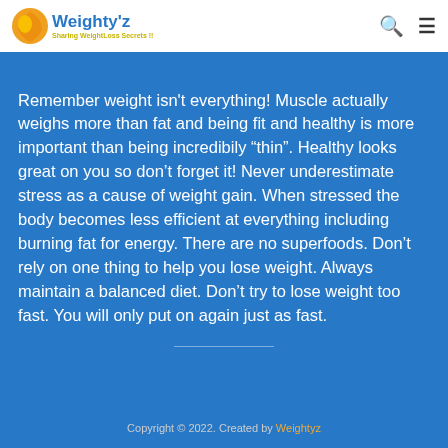Weighty'z — Sharing WeightLoss Secrets !!
Remember weight isn't everything! Muscle actually weighs more than fat and being fit and healthy is more important than being incredibily "thin". Healthy looks great on you so don't forget it! Never underestimate stress as a cause of weight gain. When stressed the body becomes less efficient at everything including burning fat for energy. There are no superfoods. Don't rely on one thing to help you lose weight. Always maintain a balanced diet. Don't try to lose weight too fast. You will only put on again just as fast.
Copyright © 2022. Created by Weightyz